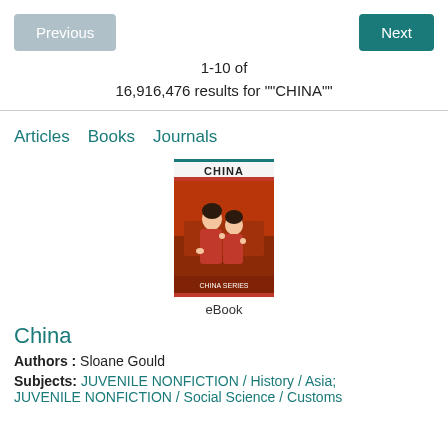Previous
Next
1-10 of
16,916,476 results for ""CHINA""
Articles   Books   Journals
[Figure (photo): Book cover for 'China' eBook showing two people in red traditional clothing, with 'CHINA' title text at top and an eBook label below.]
China
Authors : Sloane Gould
Subjects: JUVENILE NONFICTION / History / Asia; JUVENILE NONFICTION / Social Science / Customs